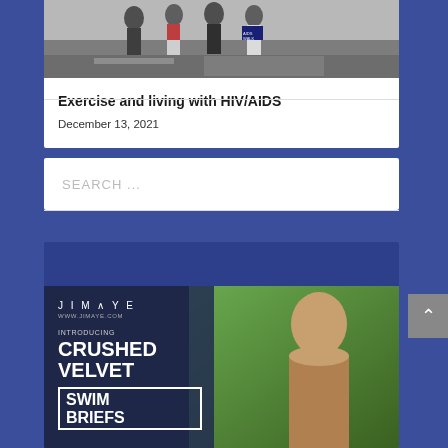[Figure (photo): Group of people walking, one wearing an AIDS Walk New York shirt, photographed outdoors near a train platform]
Exercise and living with HIV/AIDS
December 13, 2021
SEARCH ...
[Figure (photo): Advertisement for JIMAYE brand, introducing Crushed Velvet Swim Briefs, featuring a shirtless male model posing outdoors]